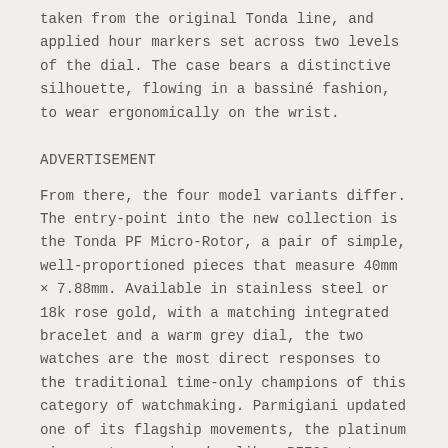taken from the original Tonda line, and applied hour markers set across two levels of the dial. The case bears a distinctive silhouette, flowing in a bassiné fashion, to wear ergonomically on the wrist.
ADVERTISEMENT
From there, the four model variants differ. The entry-point into the new collection is the Tonda PF Micro-Rotor, a pair of simple, well-proportioned pieces that measure 40mm × 7.88mm. Available in stainless steel or 18k rose gold, with a matching integrated bracelet and a warm grey dial, the two watches are the most direct responses to the traditional time-only champions of this category of watchmaking. Parmigiani updated one of its flagship movements, the platinum micro-rotor-equipped caliber PF703, to integrate the minute oscillating weight